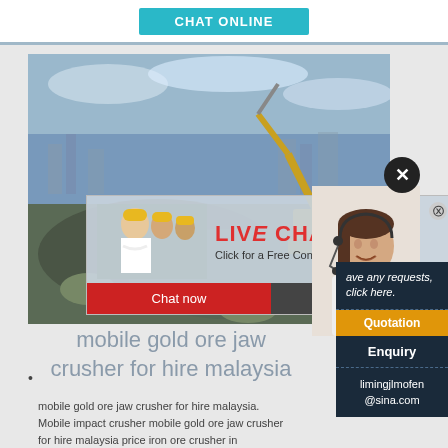[Figure (screenshot): CHAT ONLINE teal button at top of webpage]
[Figure (photo): Quarry/mining site with excavator and rocks, blue cloudy sky background]
[Figure (screenshot): Live Chat popup overlay showing workers in hard hats, LIVE CHAT heading in red, 'Click for a Free Consultation', Chat now and Chat later buttons, and a customer service woman with headset on the right]
[Figure (screenshot): Right sidebar panel showing: italic text 'ave any requests, click here.', Quotation button, Enquiry link, and limingjlmofen@sina.com email]
mobile gold ore jaw crusher for hire malaysia
mobile gold ore jaw crusher for hire malaysia. Mobile impact crusher mobile gold ore jaw crusher for hire malaysia price iron ore crusher in